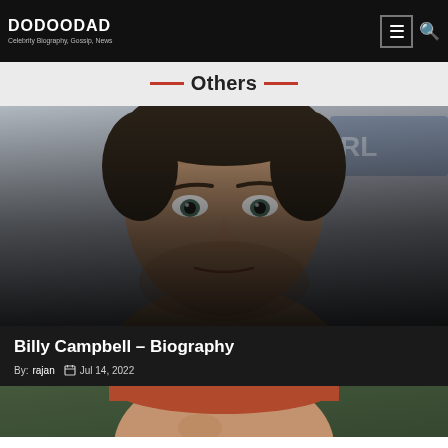DODOODAD — Celebrity Biography, Gossip, News
Others
[Figure (photo): Close-up headshot of Billy Campbell, a middle-aged man with short dark hair and stubble, looking intensely at the camera against a blurred background.]
Billy Campbell – Biography
By: rajan  Jul 14, 2022
[Figure (photo): Partial view of another person's face — appears to be a man with reddish hair against a green background, cropped at bottom of page.]